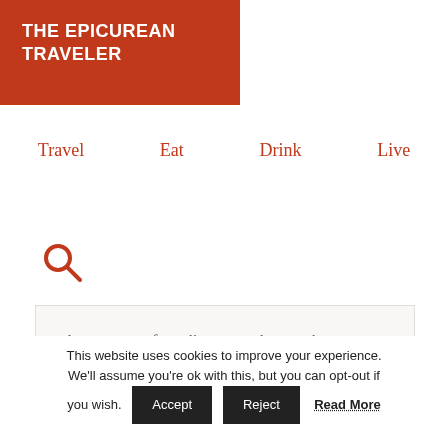THE EPICUREAN TRAVELER
Travel
Eat
Drink
Live
[Figure (other): Search/magnifying glass icon in orange/red color]
As a resource for culinary travelers, we hope you continue to daydream about
This website uses cookies to improve your experience. We'll assume you're ok with this, but you can opt-out if you wish. Accept Reject Read More